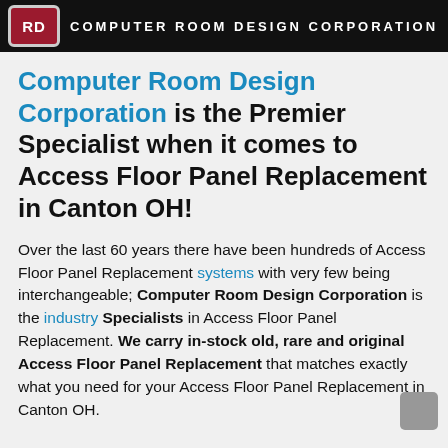RD COMPUTER ROOM DESIGN CORPORATION
Computer Room Design Corporation is the Premier Specialist when it comes to Access Floor Panel Replacement in Canton OH!
Over the last 60 years there have been hundreds of Access Floor Panel Replacement systems with very few being interchangeable; Computer Room Design Corporation is the industry Specialists in Access Floor Panel Replacement. We carry in-stock old, rare and original Access Floor Panel Replacement that matches exactly what you need for your Access Floor Panel Replacement in Canton OH.